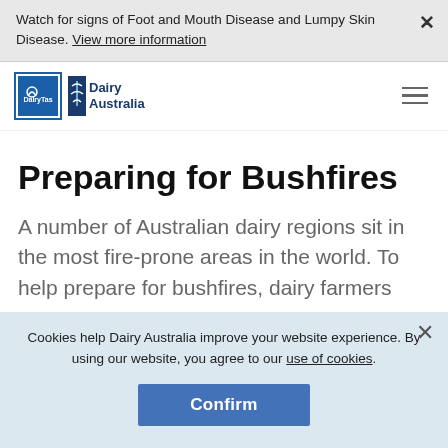Watch for signs of Foot and Mouth Disease and Lumpy Skin Disease. View more information
[Figure (logo): DairyTas and Dairy Australia logos in navigation bar]
Preparing for Bushfires
A number of Australian dairy regions sit in the most fire-prone areas in the world. To help prepare for bushfires, dairy farmers can
Cookies help Dairy Australia improve your website experience. By using our website, you agree to our use of cookies.
Confirm